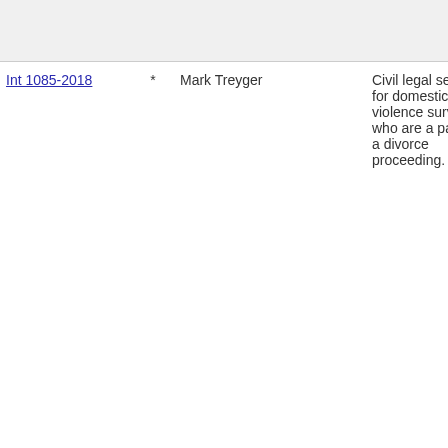| Int | * | Name | Description |
| --- | --- | --- | --- |
| Int 1085-2018 | * | Mark Treyger | Civil legal services for domestic violence survivors who are a party to a divorce proceeding. |